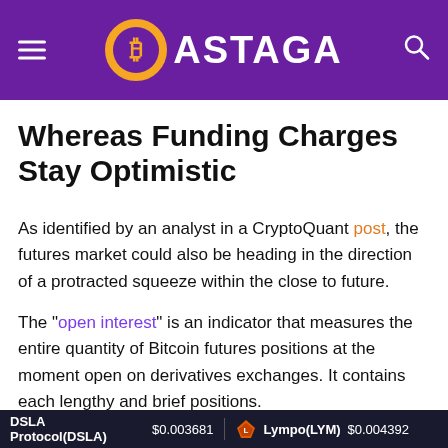BASTAGA
Whereas Funding Charges Stay Optimistic
As identified by an analyst in a CryptoQuant post, the futures market could also be heading in the direction of a protracted squeeze within the close to future.
The “open interest” is an indicator that measures the entire quantity of Bitcoin futures positions at the moment open on derivatives exchanges. It contains each lengthy and brief positions.
DSLA Protocol(DSLA) $0.003681   Lympo(LYM) $0.004392